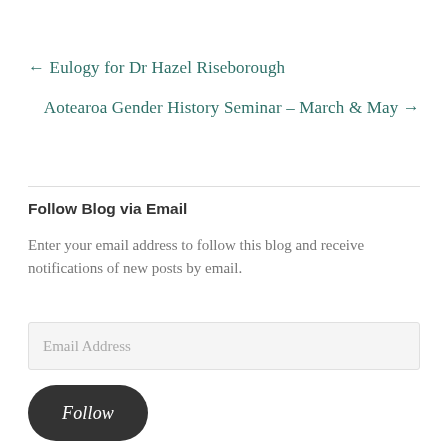← Eulogy for Dr Hazel Riseborough
Aotearoa Gender History Seminar – March & May →
Follow Blog via Email
Enter your email address to follow this blog and receive notifications of new posts by email.
Email Address
Follow